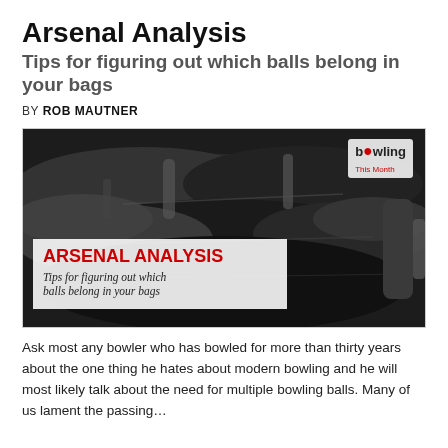Arsenal Analysis
Tips for figuring out which balls belong in your bags
BY ROB MAUTNER
[Figure (photo): Photo of multiple black bowling bags piled together. Overlay text reads 'ARSENAL ANALYSIS' in red and 'Tips for figuring out which balls belong in your bags' in italic script. Bowling This Month logo in top right corner.]
Ask most any bowler who has bowled for more than thirty years about the one thing he hates about modern bowling and he will most likely talk about the need for multiple bowling balls. Many of us lament the passing…